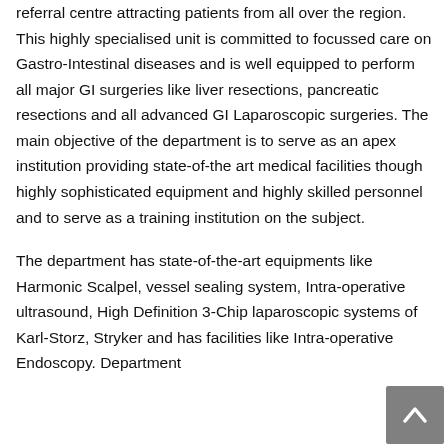referral centre attracting patients from all over the region. This highly specialised unit is committed to focussed care on Gastro-Intestinal diseases and is well equipped to perform all major GI surgeries like liver resections, pancreatic resections and all advanced GI Laparoscopic surgeries. The main objective of the department is to serve as an apex institution providing state-of-the art medical facilities though highly sophisticated equipment and highly skilled personnel and to serve as a training institution on the subject.
The department has state-of-the-art equipments like Harmonic Scalpel, vessel sealing system, Intra-operative ultrasound, High Definition 3-Chip laparoscopic systems of Karl-Storz, Stryker and has facilities like Intra-operative Endoscopy. Department